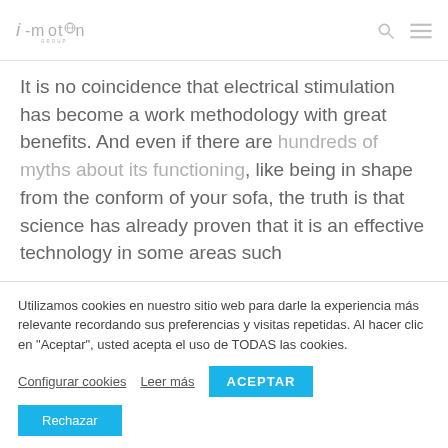i-motion GROUP
It is no coincidence that electrical stimulation has become a work methodology with great benefits. And even if there are hundreds of myths about its functioning, like being in shape from the conform of your sofa, the truth is that science has already proven that it is an effective technology in some areas such
Utilizamos cookies en nuestro sitio web para darle la experiencia más relevante recordando sus preferencias y visitas repetidas. Al hacer clic en "Aceptar", usted acepta el uso de TODAS las cookies.
Configurar cookies   Leer más   ACEPTAR   Rechazar